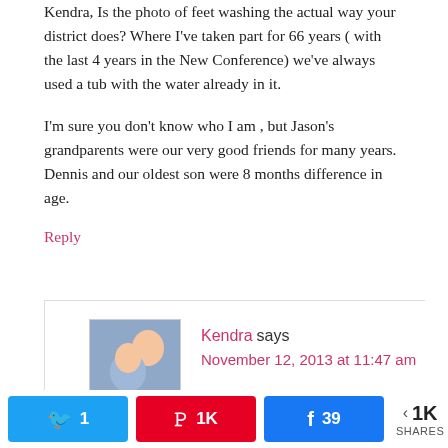Kendra, Is the photo of feet washing the actual way your district does? Where I've taken part for 66 years ( with the last 4 years in the New Conference) we've always used a tub with the water already in it.
I'm sure you don't know who I am , but Jason's grandparents were our very good friends for many years. Dennis and our oldest son were 8 months difference in age.
Reply
Kendra says
November 12, 2013 at 11:47 am
1 · 1K · 39 · 1K SHARES